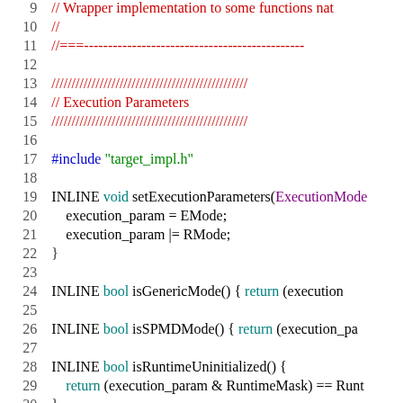[Figure (screenshot): Source code screenshot showing C++ code with syntax highlighting. Lines 9-30 visible. Contains comments, #include directive, and INLINE function definitions for setExecutionParameters, isGenericMode, isSPMDMode, and isRuntimeUninitialized.]